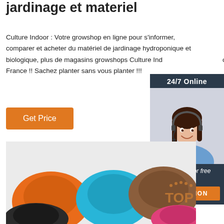jardinage et materiel
Culture Indoor : Votre growshop en ligne pour s'informer, comparer et acheter du matériel de jardinage hydroponique et biologique, plus de magasins growshops Culture Indoor en France !! Sachez planter sans vous planter !!!
[Figure (screenshot): Orange 'Get Price' button]
[Figure (photo): 24/7 Online chat widget with a smiling woman wearing a headset, dark blue background, 'Click here for free chat!' text, and an orange QUOTATION button]
[Figure (photo): Colorful plastic saucers/trays in orange, black, blue, pink, brown colors arranged on a light background, with a TOP badge in the bottom right corner]